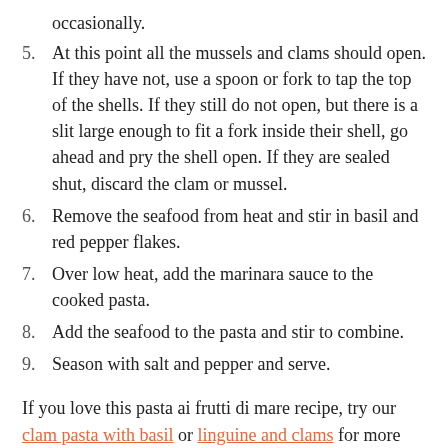occasionally.
5. At this point all the mussels and clams should open. If they have not, use a spoon or fork to tap the top of the shells. If they still do not open, but there is a slit large enough to fit a fork inside their shell, go ahead and pry the shell open. If they are sealed shut, discard the clam or mussel.
6. Remove the seafood from heat and stir in basil and red pepper flakes.
7. Over low heat, add the marinara sauce to the cooked pasta.
8. Add the seafood to the pasta and stir to combine.
9. Season with salt and pepper and serve.
If you love this pasta ai frutti di mare recipe, try our clam pasta with basil or linguine and clams for more great tasting seafood pasta! To see the full list of variety seafood packs we have available, check out